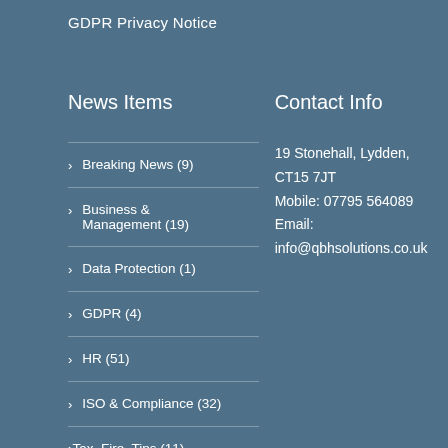GDPR Privacy Notice
News Items
Contact Info
> Breaking News (9)
19 Stonehall, Lydden, CT15 7JT
Mobile: 07795 564089
Email: info@qbhsolutions.co.uk
> Business & Management (19)
> Data Protection (1)
> GDPR (4)
> HR (51)
> ISO & Compliance (32)
> Tax, Fire, Tips (11)